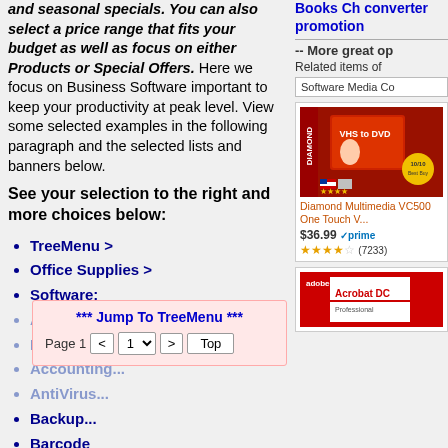and seasonal specials. You can also select a price range that fits your budget as well as focus on either Products or Special Offers. Here we focus on Business Software important to keep your productivity at peak level. View some selected examples in the following paragraph and the selected lists and banners below.
See your selection to the right and more choices below:
TreeMenu >
Office Supplies >
Software:
Apple MAC
PC
Accounting...
AntiVirus...
Backup...
Barcode
CAD Design
Checks Printed
*** Jump To TreeMenu ***
Page 1  <  1  >  Top
Books Ch converter promotion
-- More great op
Related items of
Software Media Co
Diamond Multimedia VC500 One Touch V...
$36.99 prime
★★★★☆ (7233)